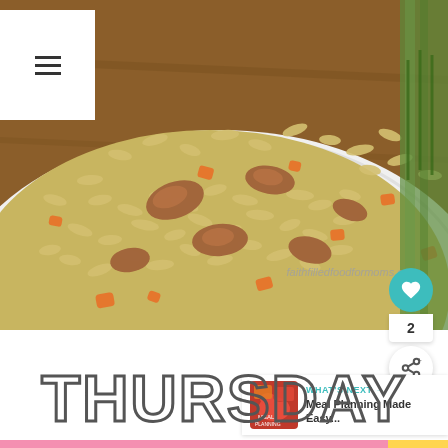[Figure (photo): Close-up photo of fried rice with chicken and carrots on a white plate, with a green fork partially visible on the right side, on a wooden table surface. Watermark reads 'faithfilledfoodformoms.com']
THURSDAY
WHAT'S NEXT → Meal Planning Made Easy...